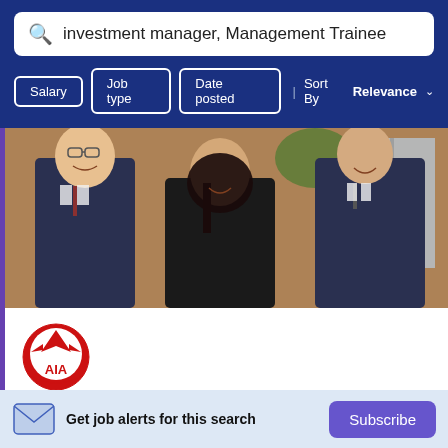investment manager, Management Trainee
Salary
Job type
Date posted
Sort By Relevance
[Figure (photo): Three young Asian professionals in business attire smiling, in an office or lobby setting with brick wall background]
[Figure (logo): AIA insurance company logo — red circle with mountain/eagle motif and AIA text]
2022-23 Wealth Management Manager
Get job alerts for this search
Subscribe